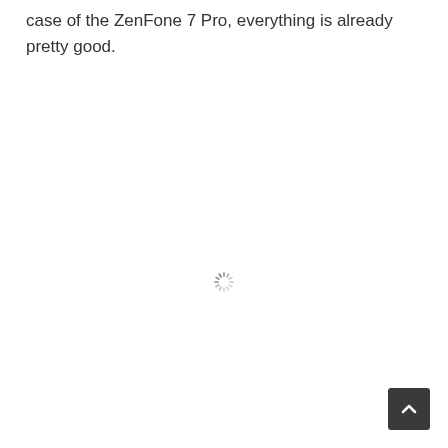case of the ZenFone 7 Pro, everything is already pretty good.
[Figure (other): Loading spinner icon — a circular arrangement of short dashes in a radial pattern, colored gray, indicating a loading state.]
[Figure (other): Back-to-top button — a dark gray square button with a white upward-pointing chevron/caret icon.]